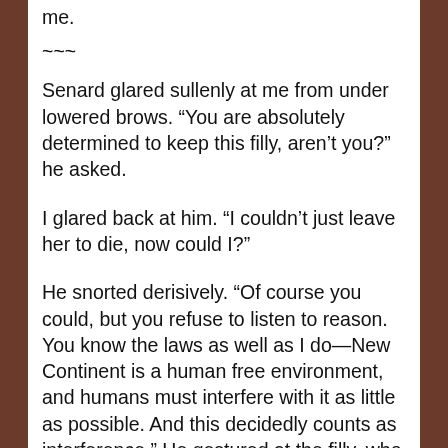me.
~~~
Senard glared sullenly at me from under lowered brows. “You are absolutely determined to keep this filly, aren’t you?” he asked.
I glared back at him. “I couldn’t just leave her to die, now could I?”
He snorted derisively. “Of course you could, but you refuse to listen to reason. You know the laws as well as I do—New Continent is a human free environment, and humans must interfere with it as little as possible. And this decidedly counts as interference.” He gestured at the filly, who was asleep next to the low burning fire in the middle of camp.
“It’s just a filly.” …